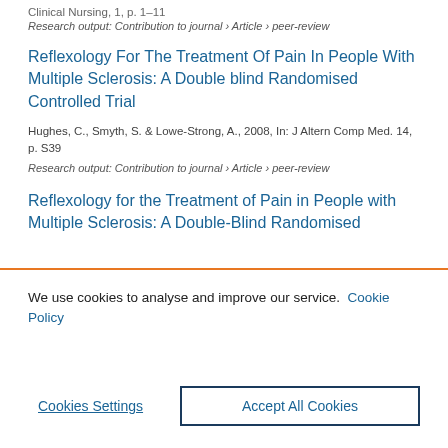Clinical Nursing, 1, p. 1-11
Research output: Contribution to journal › Article › peer-review
Reflexology For The Treatment Of Pain In People With Multiple Sclerosis: A Double blind Randomised Controlled Trial
Hughes, C., Smyth, S. & Lowe-Strong, A., 2008, In: J Altern Comp Med. 14, p. S39
Research output: Contribution to journal › Article › peer-review
Reflexology for the Treatment of Pain in People with Multiple Sclerosis: A Double-Blind Randomised
We use cookies to analyse and improve our service. Cookie Policy
Cookies Settings
Accept All Cookies